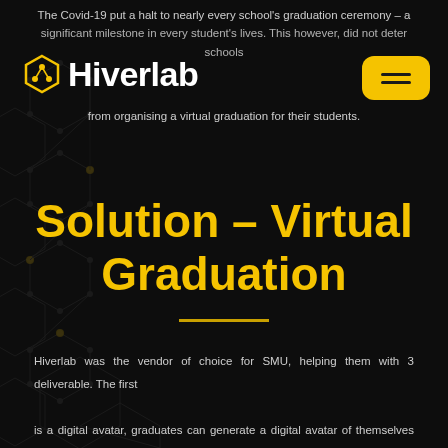The Covid-19 put a halt to nearly every school's graduation ceremony – a significant milestone in every student's lives. This however, did not deter schools from organising a virtual graduation for their students.
Hiverlab
Solution – Virtual Graduation
Hiverlab was the vendor of choice for SMU, helping them with 3 deliverable. The first is a digital avatar, graduates can generate a digital avatar of themselves by simply uploading a selfie. They can then project their avatar anywhere using their mobile